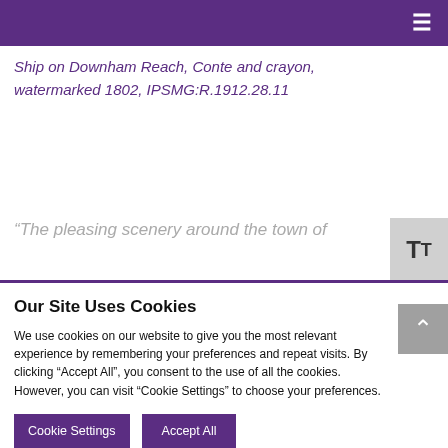≡
Ship on Downham Reach, Conte and crayon, watermarked 1802, IPSMG:R.1912.28.11
" The pleasing scenery around the town of
Our Site Uses Cookies
We use cookies on our website to give you the most relevant experience by remembering your preferences and repeat visits. By clicking "Accept All", you consent to the use of all the cookies. However, you can visit "Cookie Settings" to choose your preferences.
Cookie Settings   Accept All